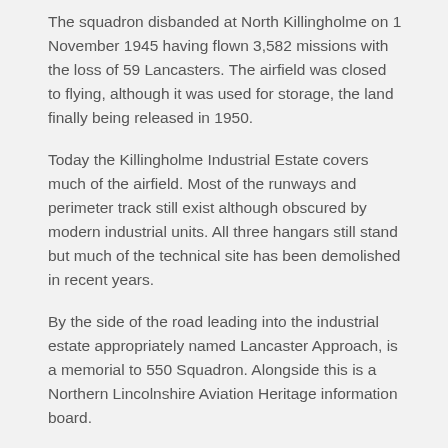The squadron disbanded at North Killingholme on 1 November 1945 having flown 3,582 missions with the loss of 59 Lancasters. The airfield was closed to flying, although it was used for storage, the land finally being released in 1950.
Today the Killingholme Industrial Estate covers much of the airfield. Most of the runways and perimeter track still exist although obscured by modern industrial units. All three hangars still stand but much of the technical site has been demolished in recent years.
By the side of the road leading into the industrial estate appropriately named Lancaster Approach, is a memorial to 550 Squadron. Alongside this is a Northern Lincolnshire Aviation Heritage information board.